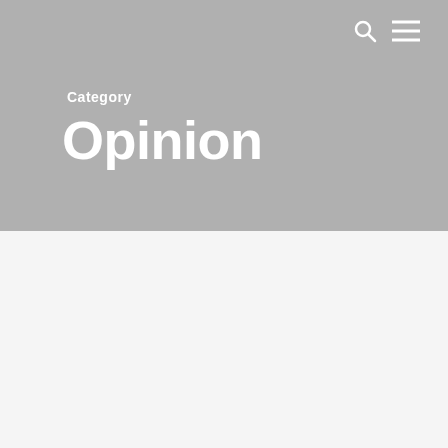Category
Opinion
[Figure (screenshot): Website screenshot showing a gray header banner with 'Category' label and 'Opinion' title in white bold text, navigation icons (search and menu) in top right, and a white content area below with a card/image placeholder]